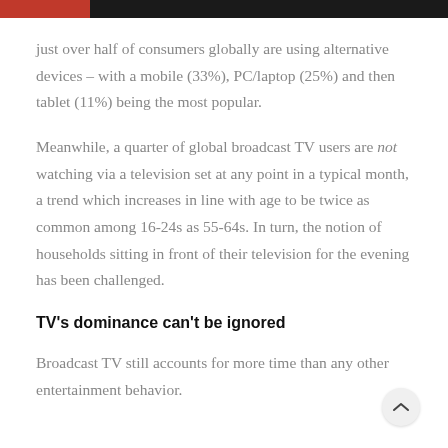just over half of consumers globally are using alternative devices – with a mobile (33%), PC/laptop (25%) and then tablet (11%) being the most popular.
Meanwhile, a quarter of global broadcast TV users are not watching via a television set at any point in a typical month, a trend which increases in line with age to be twice as common among 16-24s as 55-64s. In turn, the notion of households sitting in front of their television for the evening has been challenged.
TV's dominance can't be ignored
Broadcast TV still accounts for more time than any other entertainment behavior.